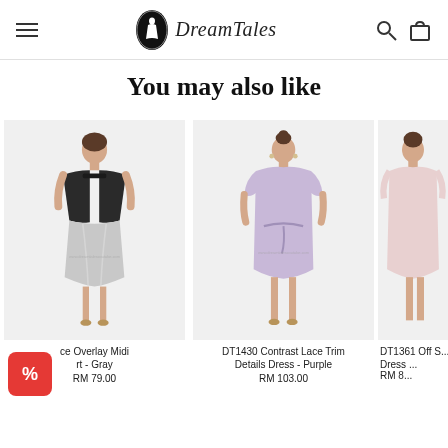DreamTales
You may also like
[Figure (photo): Woman wearing black off-shoulder top with silver lace overlay midi skirt - Gray]
Lace Overlay Midi Skirt - Gray
RM 79.00
[Figure (photo): Woman wearing purple/lilac contrast lace trim details dress]
DT1430 Contrast Lace Trim Details Dress - Purple
RM 103.00
[Figure (photo): Partial view of DT1361 Off Shoulder Dress]
DT1361 Off S... Dress ...
RM 8...